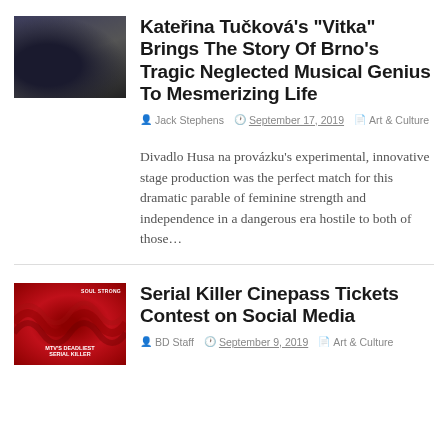[Figure (photo): Theatrical stage performance photo with dark moody lighting, performers on stage in formal attire]
Kateřina Tučková's "Vitka" Brings The Story Of Brno's Tragic Neglected Musical Genius To Mesmerizing Life
Jack Stephens  September 17, 2019  Art & Culture
Divadlo Husa na provázku's experimental, innovative stage production was the perfect match for this dramatic parable of feminine strength and independence in a dangerous era hostile to both of those…
[Figure (photo): Movie poster for 'MTV's Deadliest Serial Killer' with red and black wave design]
Serial Killer Cinepass Tickets Contest on Social Media
BD Staff  September 9, 2019  Art & Culture